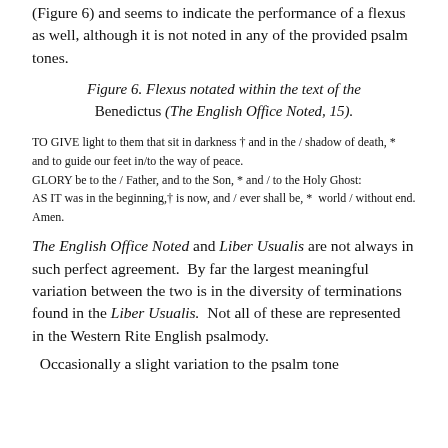(Figure 6) and seems to indicate the performance of a flexus as well, although it is not noted in any of the provided psalm tones.
Figure 6. Flexus notated within the text of the Benedictus (The English Office Noted, 15).
TO GIVE light to them that sit in darkness † and in the / shadow of death, * and to guide our feet in/to the way of peace.
GLORY be to the / Father, and to the Son, * and / to the Holy Ghost:
AS IT was in the beginning,† is now, and / ever shall be, *  world / without end. Amen.
The English Office Noted and Liber Usualis are not always in such perfect agreement.  By far the largest meaningful variation between the two is in the diversity of terminations found in the Liber Usualis.  Not all of these are represented in the Western Rite English psalmody.
Occasionally a slight variation to the psalm tone